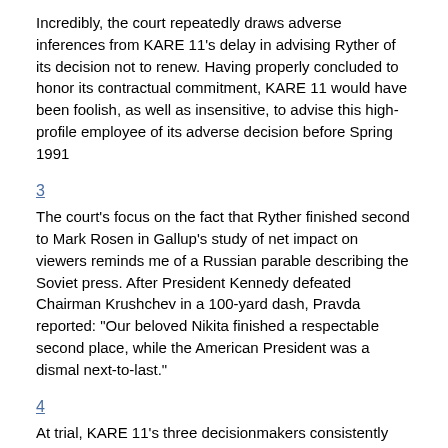Incredibly, the court repeatedly draws adverse inferences from KARE 11's delay in advising Ryther of its decision not to renew. Having properly concluded to honor its contractual commitment, KARE 11 would have been foolish, as well as insensitive, to advise this high-profile employee of its adverse decision before Spring 1991
3
The court's focus on the fact that Ryther finished second to Mark Rosen in Gallup's study of net impact on viewers reminds me of a Russian parable describing the Soviet press. After President Kennedy defeated Chairman Krushchev in a 100-yard dash, Pravda reported: "Our beloved Nikita finished a respectable second place, while the American President was a dismal next-to-last."
4
At trial, KARE 11's three decisionmakers consistently identified market research as the reason Ryther was not rehired. Janet Mason testified, "the primary information or tool that we used in making that decision was the research." Linda Rios Brook testified Ryther was not renewed "[o]n the basis of the research. That was the overriding reason." Richard Modig testified, "Well, it was really the research, I think the research